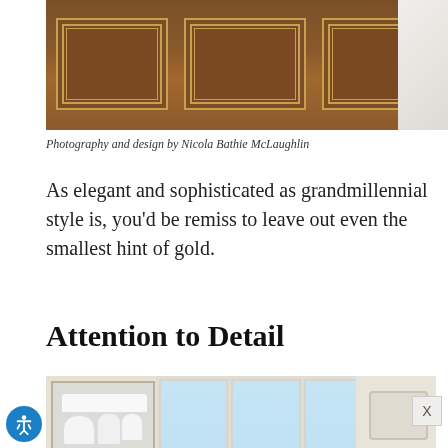[Figure (photo): Close-up photo of a wooden headboard with three decorative rectangular panels trimmed in gold/brass inlay, with white fabric visible on the right edge]
Photography and design by Nicola Bathie McLaughlin
As elegant and sophisticated as grandmillennial style is, you'd be remiss to leave out even the smallest hint of gold.
Attention to Detail
[Figure (photo): Interior photo of a bright kitchen with white cabinetry including a glass-front cabinet displaying white china and pitchers, large windows letting in natural light, green hydrangea plant on the counter, and light cream-colored walls]